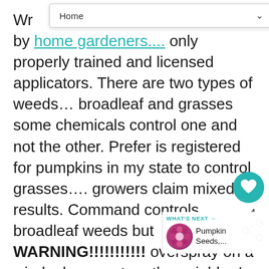Home (dropdown)
Wr[...] by home gardeners.... only properly trained and licensed applicators. There are two types of weeds… broadleaf and grasses some chemicals control one and not the other. Prefer is registered for pumpkins in my state to control grasses…. growers claim mixed results. Command controls broadleaf weeds but WARNING!!!!!!!!! overspray on a windy day may turn the neighbor's trees white. Not a good idea. Command on wet Spring soil can also damage the pumpkin seedlings. Premerger was a good one but it was taken the market. If you don't have a good feeling about these chemicals… you are right there are not many or any good choices out there. The stale seedbed method may be the best